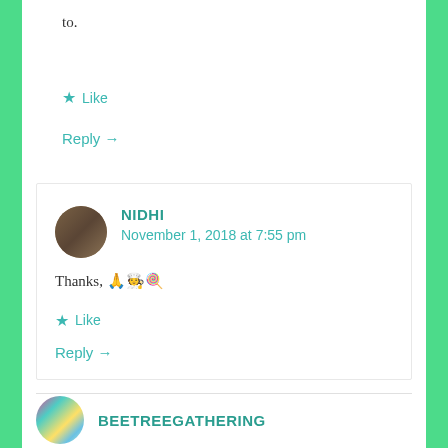to.
★ Like
Reply →
NIDHI
November 1, 2018 at 7:55 pm
Thanks, 🙏🧑‍🍳🍭
★ Like
Reply →
BEETREEGATHERING